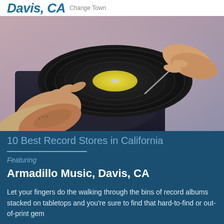Davis, CA Change Town
[Figure (photo): Person's hands placing or removing a vinyl record on a turntable, with a yellow label visible on the record. The person has a tattooed forearm.]
10 Best Record Stores in California
Featuring
Armadillo Music, Davis, CA
Let your fingers do the walking through the bins of record albums stacked on tabletops and you're sure to find that hard-to-find or out-of-print gem